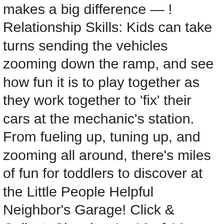makes a big difference — ! Relationship Skills: Kids can take turns sending the vehicles zooming down the ramp, and see how fun it is to play together as they work together to 'fix' their cars at the mechanic's station. From fueling up, tuning up, and zooming all around, there's miles of fun for toddlers to discover at the Little People Helpful Neighbor's Garage! Click & Collect. Showing 1 - 16 of 16 products. Cookies and similar technologies are used to improve your experience, to do things like: Without these technologies, things like personalized recommendations, your account preferences, or localisation may not work correctly. $19.99. Fisher-Price Little People Racin' Ramps Garage From the Manufacturer. Turn the crank to ride the elevator up the garage levels. These technologies are used for things like: We do this with social media, marketing, and analytics partners (who may have their own information they've collected). Fisher-Price, Garage, Little People, Parking Ramp, Service Center, Elevator, Movable, Large, Playset, Vintage, ~ LS4 ThePinkRoom. 125. 5 out of 5 stars (6,689) 6,689 reviews $ 89.95. Read our Cookie Policy. For a wide assortment of Fisher-Price visit T...